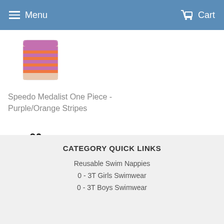Menu  Cart
[Figure (photo): Product photo of a Speedo Medalist One Piece swimsuit with purple and orange stripes, partially visible at top of page]
Speedo Medalist One Piece - Purple/Orange Stripes
$35.90
CATEGORY QUICK LINKS
Reusable Swim Nappies
0 - 3T Girls Swimwear
0 - 3T Boys Swimwear